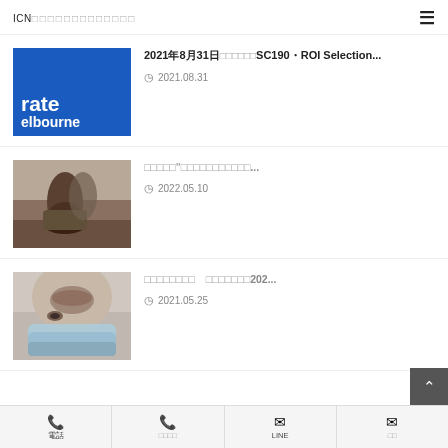ICN
[Figure (screenshot): Blue thumbnail with white bold text 'rate' and 'elbourne']
2021年8月31日　　　　　　　SC190・ROI Selection...
2021.08.31
[Figure (photo): Photo of boots walking on desert ground]
"　　　　　　　　　　　　　...
2022.05.10
[Figure (photo): Photo of woman wearing a face mask]
202...
2021.05.25
電話　　　　メールLINE　　　メール